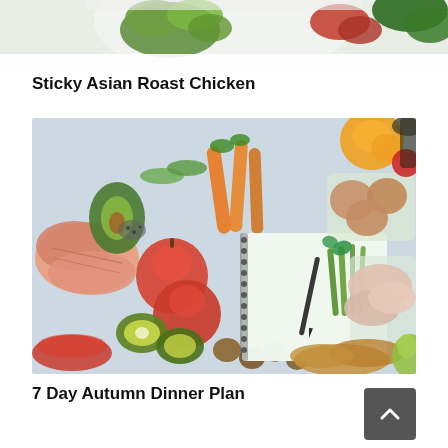[Figure (photo): Partial food photo at the top of the page, cropped, showing leafy greens and vegetables on a white/light background]
Sticky Asian Roast Chicken
[Figure (photo): Flat-lay photo of various healthy foods on a light blue surface: salmon fillets, avocado, carrots, apples, kiwis, walnuts, eggs in a glass container, asparagus, chicken breasts, bread, an orange, and a spiral notebook with a pen]
7 Day Autumn Dinner Plan